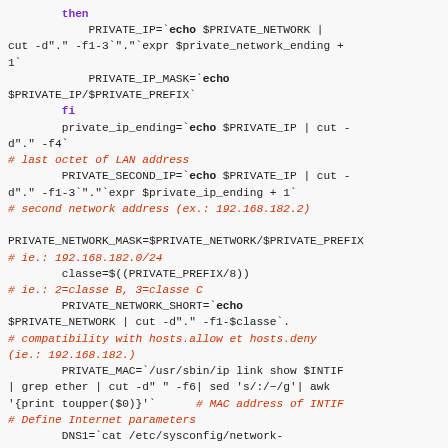Shell script code block showing bash variable assignments and comments related to private network configuration